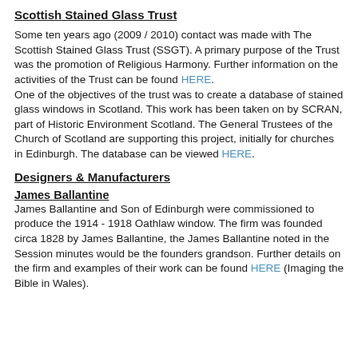Scottish Stained Glass Trust
Some ten years ago (2009 / 2010) contact was made with The Scottish Stained Glass Trust (SSGT). A primary purpose of the Trust was the promotion of Religious Harmony. Further information on the activities of the Trust can be found HERE.
One of the objectives of the trust was to create a database of stained glass windows in Scotland. This work has been taken on by SCRAN, part of Historic Environment Scotland. The General Trustees of the Church of Scotland are supporting this project, initially for churches in Edinburgh. The database can be viewed HERE.
Designers & Manufacturers
James Ballantine
James Ballantine and Son of Edinburgh were commissioned to produce the 1914 - 1918 Oathlaw window. The firm was founded circa 1828 by James Ballantine, the James Ballantine noted in the Session minutes would be the founders grandson. Further details on the firm and examples of their work can be found HERE (Imaging the Bible in Wales).